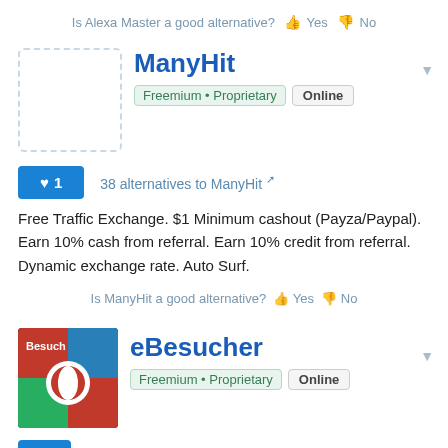Is Alexa Master a good alternative? 👍 Yes 👎 No
ManyHit
Freemium • Proprietary  Online
♥ 1   38 alternatives to ManyHit
Free Traffic Exchange. $1 Minimum cashout (Payza/Paypal). Earn 10% cash from referral. Earn 10% credit from referral. Dynamic exchange rate. Auto Surf.
Is ManyHit a good alternative? 👍 Yes 👎 No
eBesucher
Freemium • Proprietary  Online